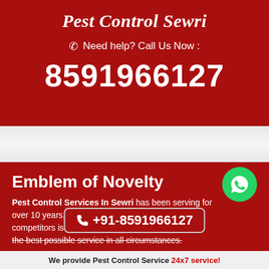Pest Control Sewri
Need help? Call Us Now :
8591966127
Emblem of Novelty
Pest Control Services In Sewri has been serving for over 10 years. Wha competitors is its re the best possible service in all circumstances.
+91-8591966127
We provide Pest Control Service 24x7 service!